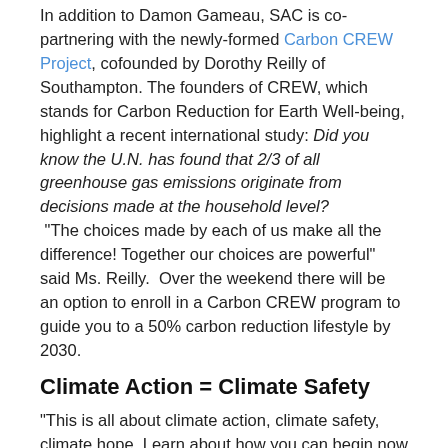In addition to Damon Gameau, SAC is co-partnering with the newly-formed Carbon CREW Project, cofounded by Dorothy Reilly of Southampton. The founders of CREW, which stands for Carbon Reduction for Earth Well-being, highlight a recent international study: Did you know the U.N. has found that 2/3 of all greenhouse gas emissions originate from decisions made at the household level? “The choices made by each of us make all the difference! Together our choices are powerful” said Ms. Reilly.  Over the weekend there will be an option to enroll in a Carbon CREW program to guide you to a 50% carbon reduction lifestyle by 2030.
Climate Action = Climate Safety
“This is all about climate action, climate safety, climate hope. Learn about how you can begin now to cut